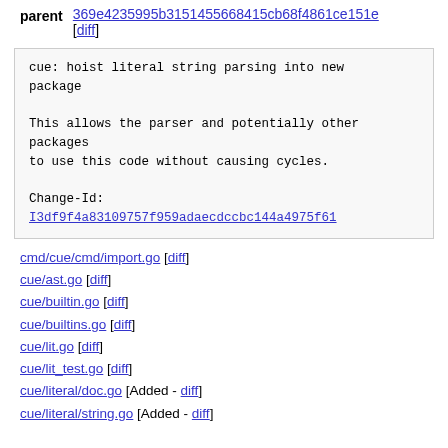parent 369e4235995b3151455668415cb68f4861ce151e [diff]
cue: hoist literal string parsing into new package

This allows the parser and potentially other packages
to use this code without causing cycles.

Change-Id:
I3df9f4a83109757f959adaecdccbc144a4975f61
cmd/cue/cmd/import.go [diff]
cue/ast.go [diff]
cue/builtin.go [diff]
cue/builtins.go [diff]
cue/lit.go [diff]
cue/lit_test.go [diff]
cue/literal/doc.go [Added - diff]
cue/literal/string.go [Added - diff]